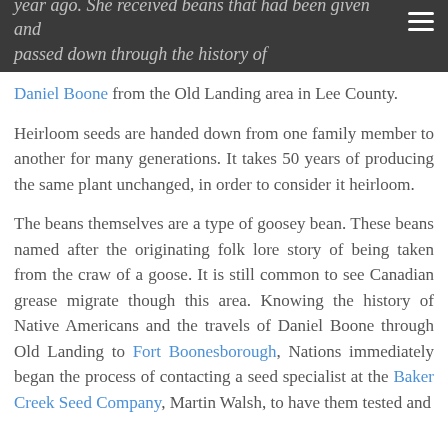year ago. She received beans that had been given and passed down through the history of Daniel Boone from the Old Landing area in Lee County.
Heirloom seeds are handed down from one family member to another for many generations. It takes 50 years of producing the same plant unchanged, in order to consider it heirloom.
The beans themselves are a type of goosey bean. These beans named after the originating folk lore story of being taken from the craw of a goose. It is still common to see Canadian grease migrate though this area. Knowing the history of Native Americans and the travels of Daniel Boone through Old Landing to Fort Boonesborough, Nations immediately began the process of contacting a seed specialist at the Baker Creek Seed Company, Martin Walsh, to have them tested and